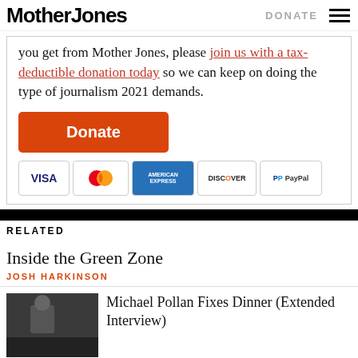Mother Jones | DONATE
you get from Mother Jones, please join us with a tax-deductible donation today so we can keep on doing the type of journalism 2021 demands.
[Figure (other): Orange Donate button followed by payment method icons: VISA, MasterCard, American Express, Discover, PayPal]
RELATED
Inside the Green Zone
JOSH HARKINSON
Michael Pollan Fixes Dinner (Extended Interview)
[Figure (photo): Thumbnail photo of a person in a kitchen]